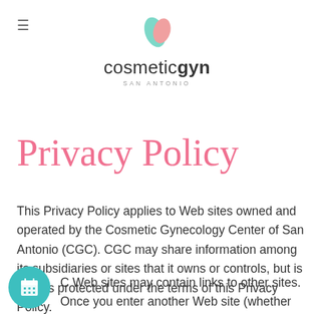[Figure (logo): Cosmetic Gyn San Antonio logo with teal and pink leaf icon above text 'cosmeticgyn' with 'SAN ANTONIO' subtitle]
Privacy Policy
This Privacy Policy applies to Web sites owned and operated by the Cosmetic Gynecology Center of San Antonio (CGC). CGC may share information among its subsidiaries or sites that it owns or controls, but is always protected under the terms of this Privacy Policy.
CGC Web sites may contain links to other sites. Once you enter another Web site (whether through an